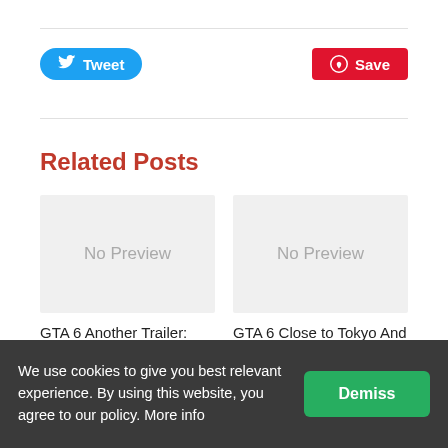[Figure (other): Tweet button (Twitter/X social share button, blue rounded pill)]
[Figure (other): Save button (Pinterest save button, red rounded rectangle)]
Related Posts
[Figure (photo): No Preview placeholder image for GTA 6 Another Trailer post]
GTA 6 Another Trailer: Download It
[Figure (photo): No Preview placeholder image for GTA 6 Close to Tokyo post]
GTA 6 Close to Tokyo And Is Currently In Development: Report
We use cookies to give you best relevant experience. By using this website, you agree to our policy. More info